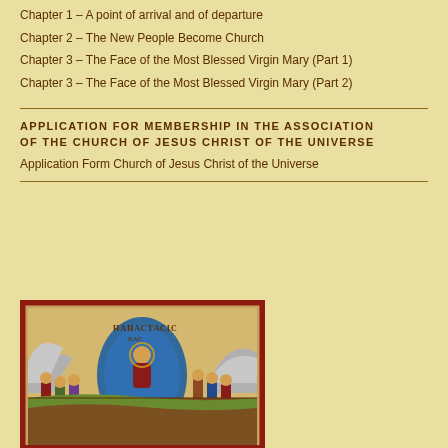Chapter 1 – A point of arrival and of departure
Chapter 2 – The New People Become Church
Chapter 3 – The Face of the Most Blessed Virgin Mary (Part 1)
Chapter 3 – The Face of the Most Blessed Virgin Mary (Part 2)
APPLICATION FOR MEMBERSHIP IN THE ASSOCIATION OF THE CHURCH OF JESUS CHRIST OF THE UNIVERSE
Application Form Church of Jesus Christ of the Universe
[Figure (illustration): Religious icon painting depicting a Byzantine-style scene with figures, likely the Anastasis (Resurrection) icon with Greek text 'ANASTAСІС' and 'КАЄ' at the top, showing Christ and saints in traditional iconographic style with red border frame]